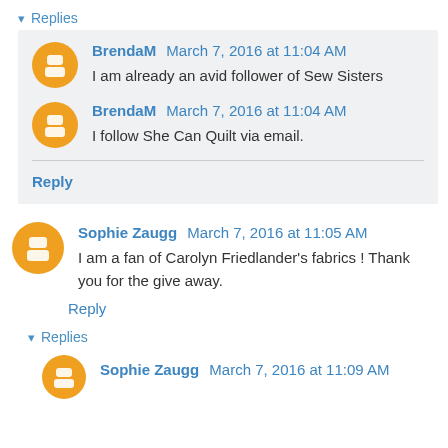▾ Replies
BrendaM March 7, 2016 at 11:04 AM
I am already an avid follower of Sew Sisters
BrendaM March 7, 2016 at 11:04 AM
I follow She Can Quilt via email.
Reply
Sophie Zaugg March 7, 2016 at 11:05 AM
I am a fan of Carolyn Friedlander's fabrics ! Thank you for the give away.
Reply
▾ Replies
Sophie Zaugg March 7, 2016 at 11:09 AM